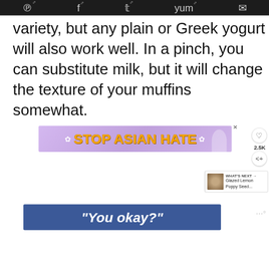[Figure (screenshot): Social media sharing toolbar with Pinterest, Facebook, Twitter, Yummly, and Email icons on dark background with external link arrows]
variety, but any plain or Greek yogurt will also work well. In a pinch, you can substitute milk, but it will change the texture of your muffins somewhat.
[Figure (screenshot): Stop Asian Hate advertisement banner with purple floral background, bold orange/yellow text reading STOP ASIAN HATE and anime-style character illustration]
[Figure (screenshot): You okay? Facebook advertisement banner in blue with white italic bold text]
[Figure (screenshot): What's Next panel showing Glazed Lemon Poppy Seed... with thumbnail image, heart save button showing 2.5K, and share button]